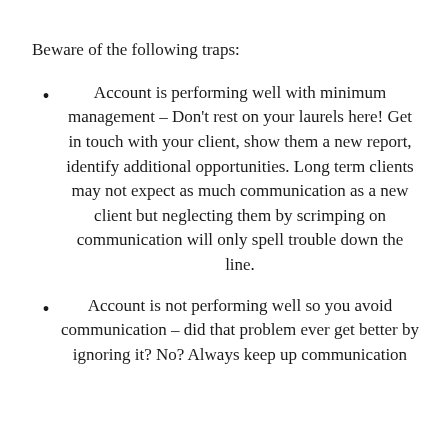Beware of the following traps:
Account is performing well with minimum management – Don't rest on your laurels here! Get in touch with your client, show them a new report, identify additional opportunities. Long term clients may not expect as much communication as a new client but neglecting them by scrimping on communication will only spell trouble down the line.
Account is not performing well so you avoid communication – did that problem ever get better by ignoring it? No? Always keep up communication